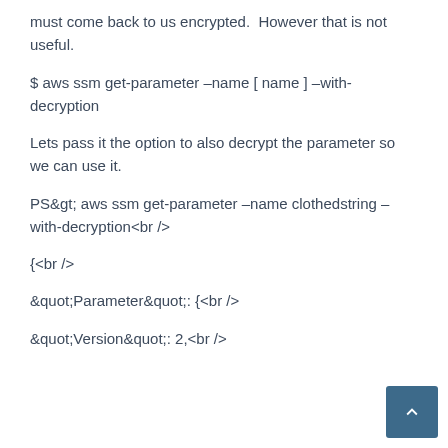must come back to us encrypted.  However that is not useful.
$ aws ssm get-parameter –name [ name ] –with-decryption
Lets pass it the option to also decrypt the parameter so we can use it.
PS&gt; aws ssm get-parameter –name clothedstring –with-decryption<br />
{<br />
&quot;Parameter&quot;: {<br />
&quot;Version&quot;: 2,<br />